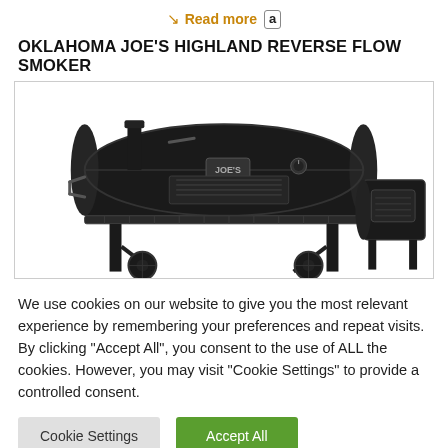↘ Read more a
OKLAHOMA JOE'S HIGHLAND REVERSE FLOW SMOKER
[Figure (photo): Oklahoma Joe's Highland Reverse Flow Smoker — a large black barrel-style BBQ smoker with a side firebox, chimney stack, and wheeled cart frame, photographed on a white background.]
We use cookies on our website to give you the most relevant experience by remembering your preferences and repeat visits. By clicking "Accept All", you consent to the use of ALL the cookies. However, you may visit "Cookie Settings" to provide a controlled consent.
Cookie Settings   Accept All